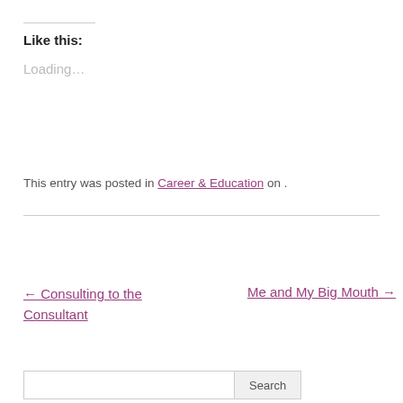Like this:
Loading...
This entry was posted in Career & Education on .
← Consulting to the Consultant
Me and My Big Mouth →